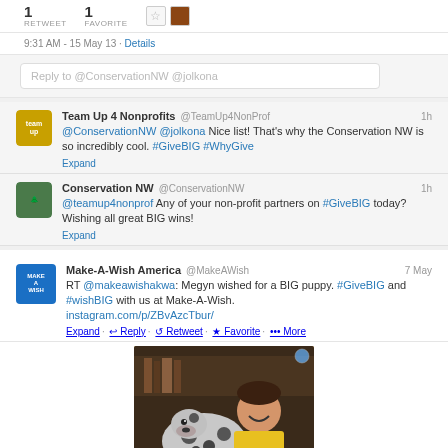1 RETWEET  1 FAVORITE
9:31 AM - 15 May 13 · Details
Reply to @ConservationNW @jolkona
Team Up 4 Nonprofits @TeamUp4NonProf 1h
@ConservationNW @jolkona Nice list! That's why the Conservation NW is so incredibly cool. #GiveBIG #WhyGive
Expand
Conservation NW @ConservationNW 1h
@teamup4nonprof Any of your non-profit partners on #GiveBIG today? Wishing all great BIG wins!
Expand
Make-A-Wish America @MakeAWish 7 May
RT @makeawishakwa: Megyn wished for a BIG puppy. #GiveBIG and #wishBIG with us at Make-A-Wish. instagram.com/p/ZBvAzcTbur/
Expand · Reply · Retweet · Favorite · More
[Figure (photo): Photo of a smiling child in yellow shirt holding a large spotted Great Dane puppy, with instagram caption overlay at bottom]